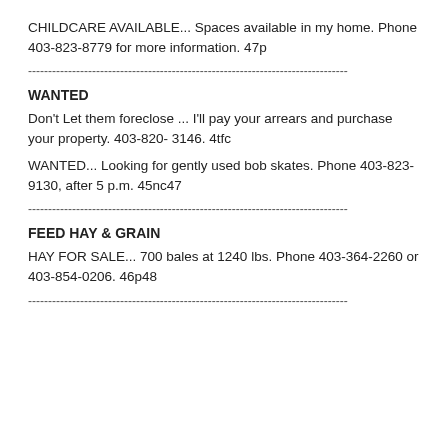CHILDCARE AVAILABLE... Spaces available in my home. Phone 403-823-8779 for more information. 47p
--------------------------------------------------------------------------------
WANTED
Don't Let them foreclose ... I'll pay your arrears and purchase your property. 403-820- 3146. 4tfc
WANTED... Looking for gently used bob skates. Phone 403-823-9130, after 5 p.m. 45nc47
--------------------------------------------------------------------------------
FEED HAY & GRAIN
HAY FOR SALE... 700 bales at 1240 lbs. Phone 403-364-2260 or 403-854-0206. 46p48
--------------------------------------------------------------------------------